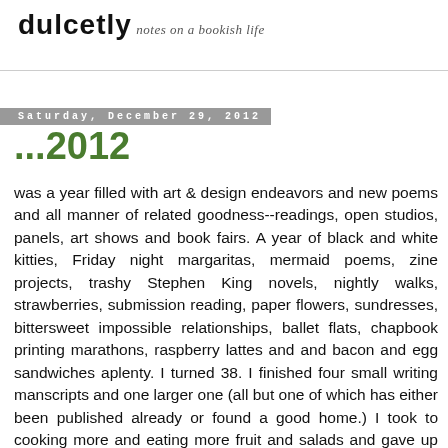dulcetly
notes on a bookish life
Saturday, December 29, 2012
...2012
was a year filled with art & design endeavors and new poems and all manner of related goodness--readings, open studios, panels, art shows and book fairs. A year of black and white kitties, Friday night margaritas, mermaid poems, zine projects, trashy Stephen King novels, nightly walks, strawberries, submission reading, paper flowers, sundresses, bittersweet impossible relationships, ballet flats, chapbook printing marathons, raspberry lattes and and bacon and egg sandwiches aplenty. I turned 38. I finished four small writing manscripts and one larger one (all but one of which has either been published already or found a good home.) I took to cooking more and eating more fruit and salads and gave up regular soda, which has dropped me a